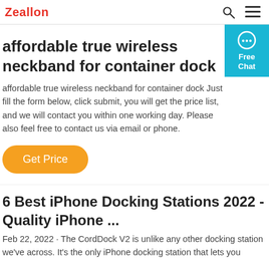Zeallon
affordable true wireless neckband for container dock
affordable true wireless neckband for container dock Just fill the form below, click submit, you will get the price list, and we will contact you within one working day. Please also feel free to contact us via email or phone.
Get Price
6 Best iPhone Docking Stations 2022 - Quality iPhone ...
Feb 22, 2022 · The CordDock V2 is unlike any other docking station we've across. It's the only iPhone docking station that lets you